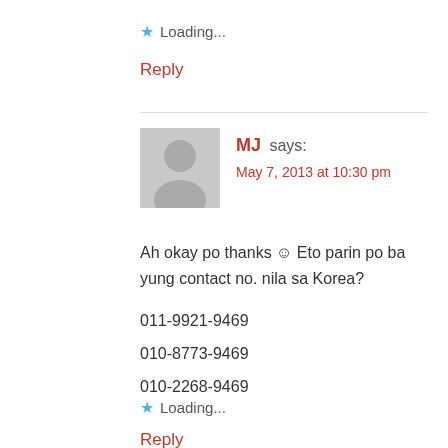★ Loading...
Reply
MJ says: May 7, 2013 at 10:30 pm
Ah okay po thanks 😊 Eto parin po ba yung contact no. nila sa Korea?
011-9921-9469
010-8773-9469
010-2268-9469
★ Loading...
Reply